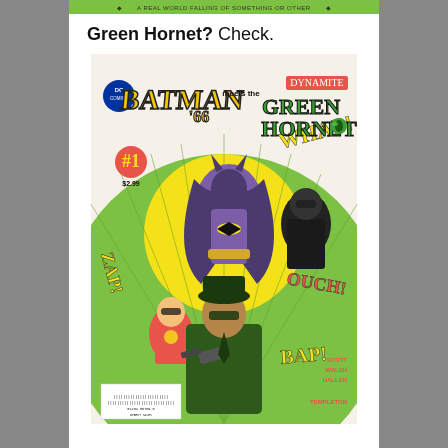Green Hornet? Check.
[Figure (illustration): Comic book cover: Batman '66 Meets the Green Hornet #1. Features Batman in purple costume flying, Robin, Green Hornet in green suit and hat pointing a gun, and Kato in black. DC Comics and Dynamite logos. Price $2.99. Artists: Scott, Walsh, Haller, Dorman, Templeton. Pop art style with sound effect words BAP, OUCH, WHAP in background.]